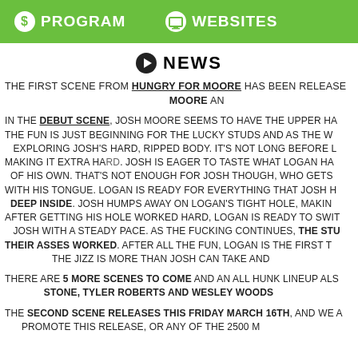PROGRAM  WEBSITES
NEWS
THE FIRST SCENE FROM HUNGRY FOR MOORE HAS BEEN RELEASED. MOORE AN...
IN THE DEBUT SCENE, JOSH MOORE SEEMS TO HAVE THE UPPER HA... THE FUN IS JUST BEGINNING FOR THE LUCKY STUDS AND AS THE W... EXPLORING JOSH'S HARD, RIPPED BODY. IT'S NOT LONG BEFORE L... MAKING IT EXTRA HARD. JOSH IS EAGER TO TASTE WHAT LOGAN HA... OF HIS OWN. THAT'S NOT ENOUGH FOR JOSH THOUGH, WHO GETS... WITH HIS TONGUE. LOGAN IS READY FOR EVERYTHING THAT JOSH H... DEEP INSIDE. JOSH HUMPS AWAY ON LOGAN'S TIGHT HOLE, MAKIN... AFTER GETTING HIS HOLE WORKED HARD, LOGAN IS READY TO SWIT... JOSH WITH A STEADY PACE. AS THE FUCKING CONTINUES, THE STU... THEIR ASSES WORKED. AFTER ALL THE FUN, LOGAN IS THE FIRST T... THE JIZZ IS MORE THAN JOSH CAN TAKE AND...
THERE ARE 5 MORE SCENES TO COME AND AN ALL HUNK LINEUP ALS... STONE, TYLER ROBERTS AND WESLEY WOODS...
THE SECOND SCENE RELEASES THIS FRIDAY MARCH 16TH, AND WE A... PROMOTE THIS RELEASE, OR ANY OF THE 2500 M...